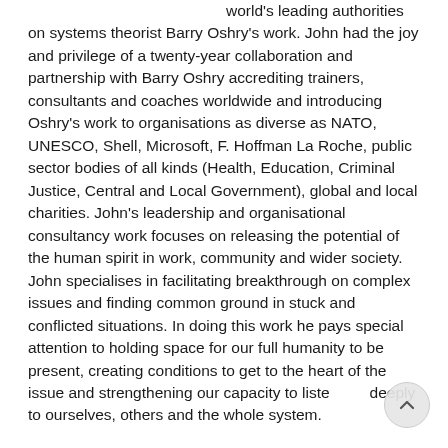world's leading authorities on systems theorist Barry Oshry's work. John had the joy and privilege of a twenty-year collaboration and partnership with Barry Oshry accrediting trainers, consultants and coaches worldwide and introducing Oshry's work to organisations as diverse as NATO, UNESCO, Shell, Microsoft, F. Hoffman La Roche, public sector bodies of all kinds (Health, Education, Criminal Justice, Central and Local Government), global and local charities. John's leadership and organisational consultancy work focuses on releasing the potential of the human spirit in work, community and wider society. John specialises in facilitating breakthrough on complex issues and finding common ground in stuck and conflicted situations. In doing this work he pays special attention to holding space for our full humanity to be present, creating conditions to get to the heart of the issue and strengthening our capacity to listen deeply to ourselves, others and the whole system.